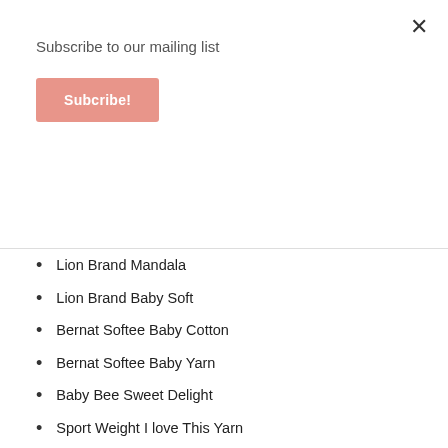Subscribe to our mailing list
Subcribe!
Lion Brand Mandala
Lion Brand Baby Soft
Bernat Softee Baby Cotton
Bernat Softee Baby Yarn
Baby Bee Sweet Delight
Sport Weight I love This Yarn
Caron Skinny Cakes
Loops & Threads Joy DK
Lion Brand Coboo
Pattern Testing
One thing I make sure to do before each pattern release is to have the new pattern tested. This beanie pattern was